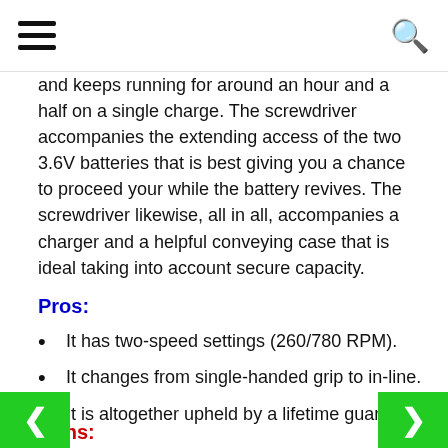[hamburger menu] [search icon]
and keeps running for around an hour and a half on a single charge. The screwdriver accompanies the extending access of the two 3.6V batteries that is best giving you a chance to proceed your while the battery revives. The screwdriver likewise, all in all, accompanies a charger and a helpful conveying case that is ideal taking into account secure capacity.
Pros:
It has two-speed settings (260/780 RPM).
It changes from single-handed grip to in-line.
It is altogether upheld by a lifetime guarantee.
Cons: